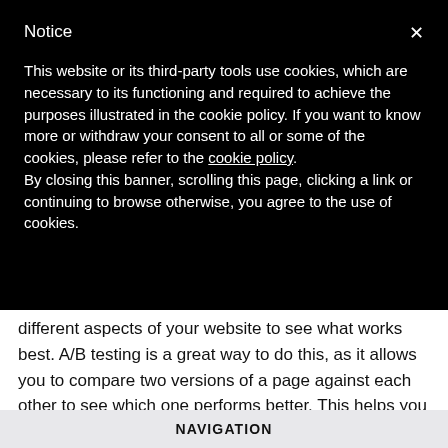Notice
This website or its third-party tools use cookies, which are necessary to its functioning and required to achieve the purposes illustrated in the cookie policy. If you want to know more or withdraw your consent to all or some of the cookies, please refer to the cookie policy.
By closing this banner, scrolling this page, clicking a link or continuing to browse otherwise, you agree to the use of cookies.
different aspects of your website to see what works best. A/B testing is a great way to do this, as it allows you to compare two versions of a page against each other to see which one performs better. This helps you to determine what changes you need to make with the goal of improving conversion rates and increasing sales. It's a
NAVIGATION